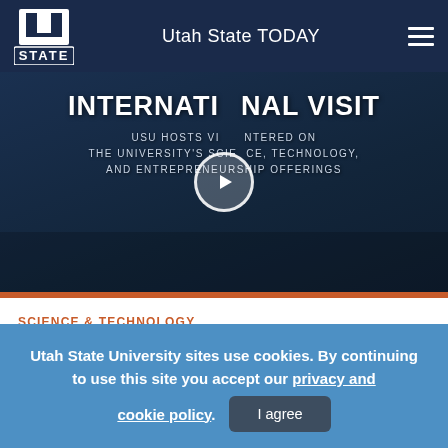Utah State TODAY
[Figure (screenshot): Video thumbnail for 'International Visit' article — dark navy background with bold white uppercase text reading INTERNATIONAL VISIT. Subtitle: USU HOSTS VISIT CENTERED ON THE UNIVERSITY'S SCIENCE, TECHNOLOGY, AND ENTREPRENEURSHIP OFFERINGS. A circular play button is centered over the text.]
SCIENCE & TECHNOLOGY
August 17, 2022 · 1417
Utah State University sites use cookies. By continuing to use this site you accept our privacy and cookie policy.
I agree